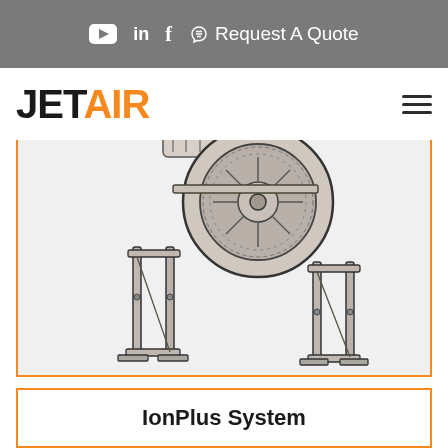YouTube | LinkedIn | Facebook | Request A Quote
[Figure (logo): JetAir logo with 'JET' in black bold and 'AIR' in orange bold text]
[Figure (engineering-diagram): Technical line drawing of an industrial equipment stand/rack system with wheels (tire visible), metal frame legs, and cross supports. Black outlines on white/light gray background. Partial view showing lower portion of the equipment.]
IonPlus System